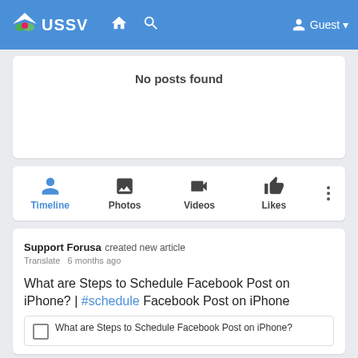USSV — navigation bar with Home, Search, Guest
No posts found
Timeline  Photos  Videos  Likes
Support Forusa created new article
Translate  6 months ago
What are Steps to Schedule Facebook Post on iPhone? | #schedule Facebook Post on iPhone
What are Steps to Schedule Facebook Post on iPhone?